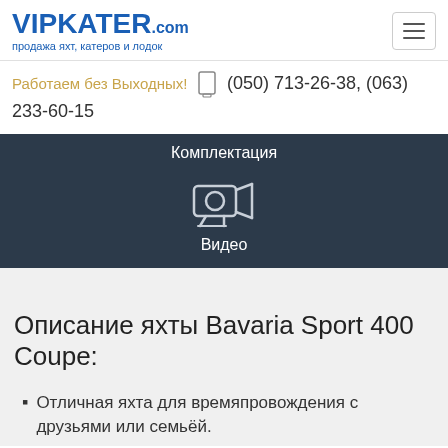VIPKATER.COM — продажа яхт, катеров и лодок
Работаем без Выходных! (050) 713-26-38, (063) 233-60-15
[Figure (screenshot): Dark navigation panel with 'Комплектация' tab, video camera icon, and 'Видео' label]
Описание яхты Bavaria Sport 400 Coupe:
Отличная яхта для времяпровождения с друзьями или семьёй.